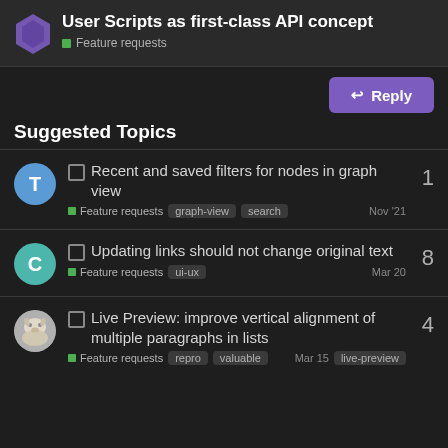User Scripts as first-class API concept — Feature requests
Suggested Topics
Recent and saved filters for nodes in graph view — Feature requests, graph-view, search — 1 reply — Nov '21
Updating links should not change original text — Feature requests, ui-ux — 8 replies — Mar 20
Live Preview: improve vertical alignment of multiple paragraphs in lists — Feature requests, repro, valuable, live-preview — 4 replies — Mar 15